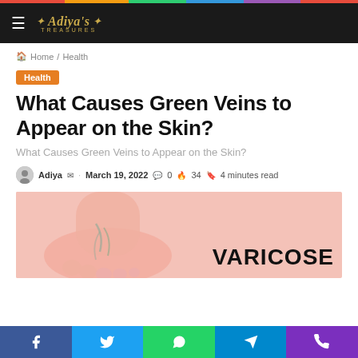Adiya's Treasures
Home / Health
Health
What Causes Green Veins to Appear on the Skin?
What Causes Green Veins to Appear on the Skin?
Adiya · March 19, 2022 · 0 · 34 · 4 minutes read
[Figure (photo): Close-up photo of skin showing varicose veins on a foot/ankle against a pink background, with bold text overlay reading 'VARICOSE']
Social share bar: Facebook, Twitter, WhatsApp, Telegram, Phone